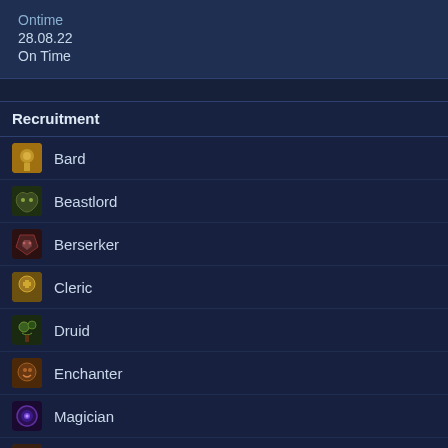Ontime
28.08.22
On Time
Recruitment
Bard
Beastlord
Berserker
Cleric
Druid
Enchanter
Magician
Monk
Ranger
Rogue
Sh...